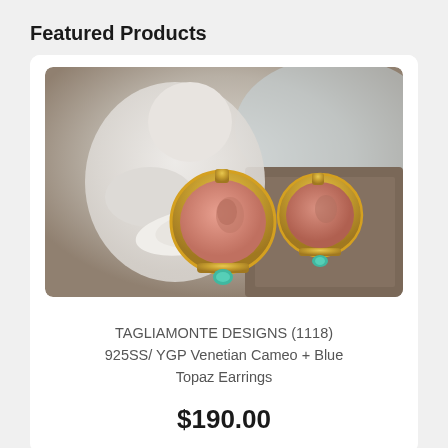Featured Products
[Figure (photo): Two Tagliamonte Designs cameo earrings with pink/salmon oval cameo stones set in gold-tone frames with blue topaz accents, displayed in front of a white porcelain cherub figurine reading a book]
TAGLIAMONTE DESIGNS (1118) 925SS/ YGP Venetian Cameo + Blue Topaz Earrings
$190.00